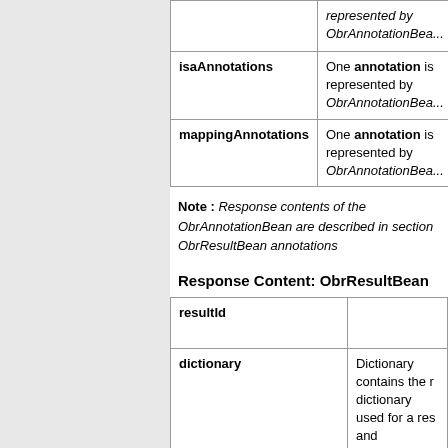| Field | Description |
| --- | --- |
|  | represented by ObrAnnotationBea... |
| isaAnnotations | One annotation is represented by ObrAnnotationBea... |
| mappingAnnotations | One annotation is represented by ObrAnnotationBea... |
Note : Response contents of the ObrAnnotationBean are described in section ObrResultBean annotations
Response Content: ObrResultBean
| Field | Description |
| --- | --- |
| resultId |  |
| dictionary | Dictionary contains the dictionary used for a res... and dictionaryDate ident... and give information abo... |